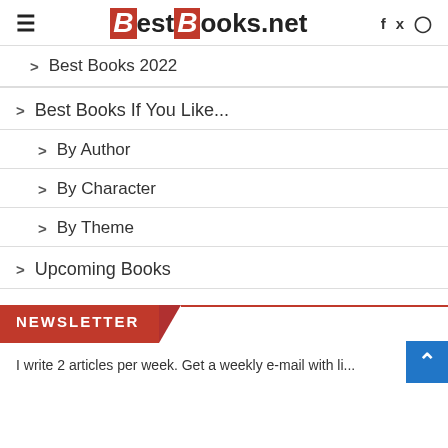BestBooks.net
Best Books 2022
Best Books If You Like...
By Author
By Character
By Theme
Upcoming Books
NEWSLETTER
I write 2 articles per week. Get a weekly e-mail with li...